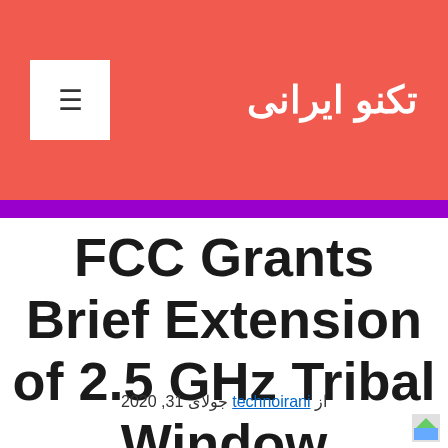تکنو ایرانی
FCC Grants Brief Extension of 2.5 GHz Tribal Window
از جولای 31, 2020 technoirani